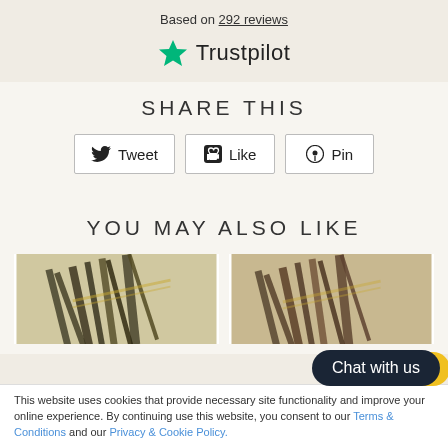Based on 292 reviews
[Figure (logo): Trustpilot logo with green star and 'Trustpilot' text]
SHARE THIS
Tweet  Like  Pin
YOU MAY ALSO LIKE
[Figure (photo): Hair extension product image, dark brown/olive color]
[Figure (photo): Hair extension product image, medium brown color]
This website uses cookies that provide necessary site functionality and improve your online experience. By continuing use this website, you consent to our Terms & Conditions and our Privacy & Cookie Policy.
Chat with us